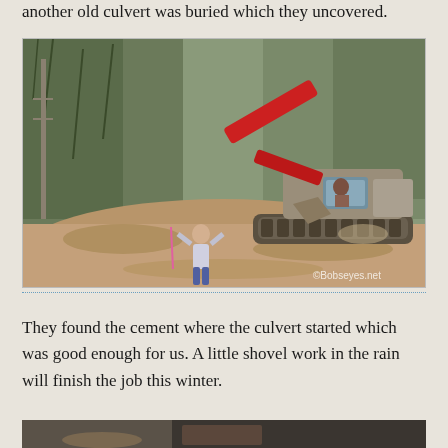another old culvert was buried which they uncovered.
[Figure (photo): An excavator with a red boom working on a dirt road in a forested hillside area. A person stands nearby watching the machine work. Watermark reads 'Bobseyes.net'.]
They found the cement where the culvert started which was good enough for us. A little shovel work in the rain will finish the job this winter.
[Figure (photo): Bottom portion of another photo showing ground-level work related to culvert installation, partially visible.]